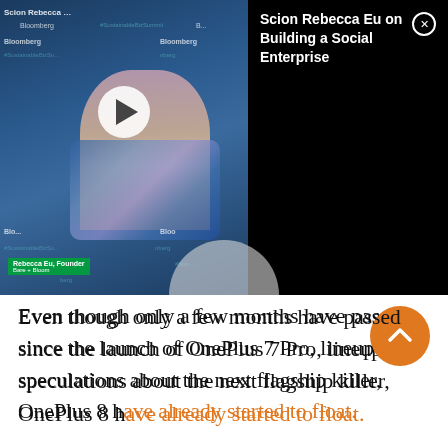[Figure (screenshot): Bloomberg video thumbnail showing a woman at a summit event, with play button overlay, and panel on right showing title 'Scion Rebecca Eu on Building a Social Enterprise' with close button on black background]
Even though only a few months have passed since the launch of OnePlus 7 Pro, lineup speculations about the next flagship killer, OnePlus 8 have already started to float.
[fvplayer id="2083"]
Many have reported the flaws or issues with the OnePlus 7 and so here few changes that could happen in the OnePlus 8